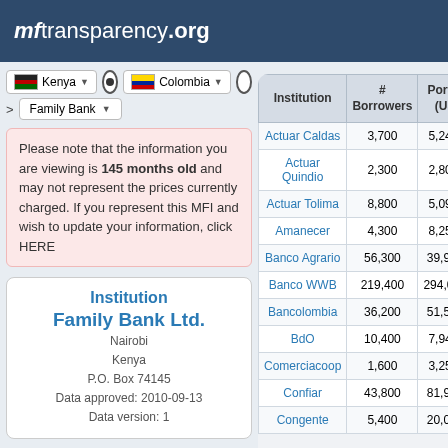mftransparency.org
Kenya (dropdown) | Colombia (dropdown)
> Family Bank (dropdown)
Please note that the information you are viewing is 145 months old and may not represent the prices currently charged. If you represent this MFI and wish to update your information, click HERE
Institution
Family Bank Ltd.
Nairobi
Kenya
P.O. Box 74145
Data approved: 2010-09-13
Data version: 1
| Institution | # Borrowers | Portfolio (US... |
| --- | --- | --- |
| Actuar Caldas | 3,700 | 5,247, |
| Actuar Quindio | 2,300 | 2,800, |
| Actuar Tolima | 8,800 | 5,099, |
| Amanecer | 4,300 | 8,253, |
| Banco Agrario | 56,300 | 39,938 |
| Banco WWB | 219,400 | 294,019 |
| Bancolombia | 36,200 | 51,563 |
| BdO | 10,400 | 7,945, |
| Comerciacoop | 1,600 | 3,255, |
| Confiar | 43,800 | 81,993 |
| Congente | 5,400 | 20,045 |